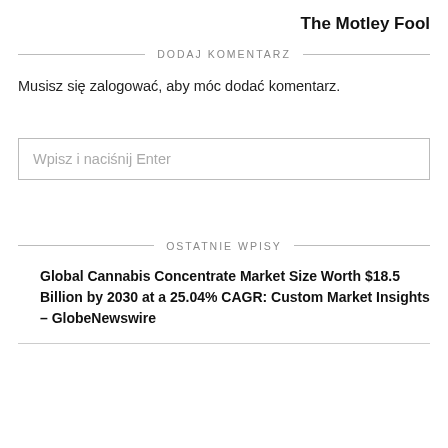The Motley Fool
DODAJ KOMENTARZ
Musisz się zalogować, aby móc dodać komentarz.
Wpisz i naciśnij Enter
OSTATNIE WPISY
Global Cannabis Concentrate Market Size Worth $18.5 Billion by 2030 at a 25.04% CAGR: Custom Market Insights – GlobeNewswire